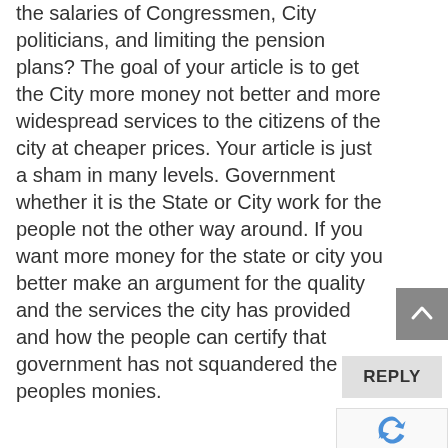the salaries of Congressmen, City politicians, and limiting the pension plans? The goal of your article is to get the City more money not better and more widespread services to the citizens of the city at cheaper prices. Your article is just a sham in many levels. Government whether it is the State or City work for the people not the other way around. If you want more money for the state or city you better make an argument for the quality and the services the city has provided and how the people can certify that government has not squandered the peoples monies.